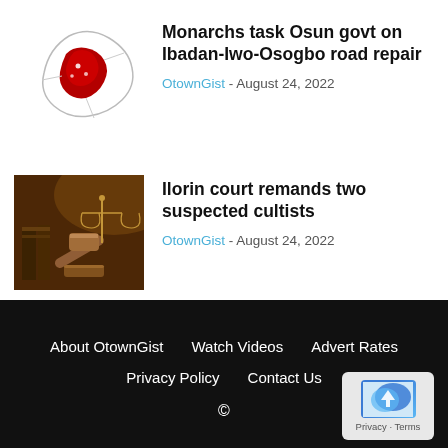[Figure (map): Red map of Osun state Nigeria outline on white background with small location markers]
Monarchs task Osun govt on Ibadan-Iwo-Osogbo road repair
OtownGist - August 24, 2022
[Figure (photo): Photo of a judge's gavel and scales of justice on a wooden surface with books, warm brown lighting]
Ilorin court remands two suspected cultists
OtownGist - August 24, 2022
About OtownGist   Watch Videos   Advert Rates   Privacy Policy   Contact Us   ©